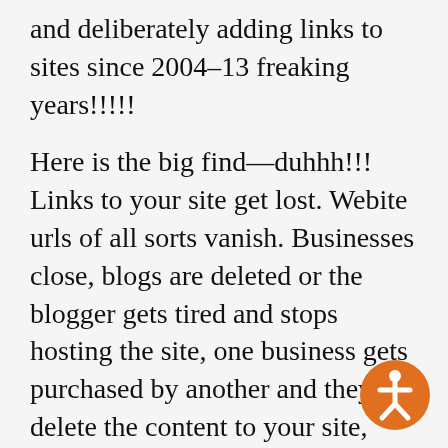and deliberately adding links to sites since 2004–13 freaking years!!!!!
Here is the big find—duhhh!!! Links to your site get lost. Webite urls of all sorts vanish. Businesses close, blogs are deleted or the blogger gets tired and stops hosting the site, one business gets purchased by another and they delete the content to your site, editors of sites change and they don't like the content to your site: Bam...the link to your site vanishes. Sites that linked to you that were once strong are now weak and ostensibly the link(s) to your site have lost value.
[Figure (illustration): Orange circular accessibility icon with a human figure symbol in the bottom right corner of the page]